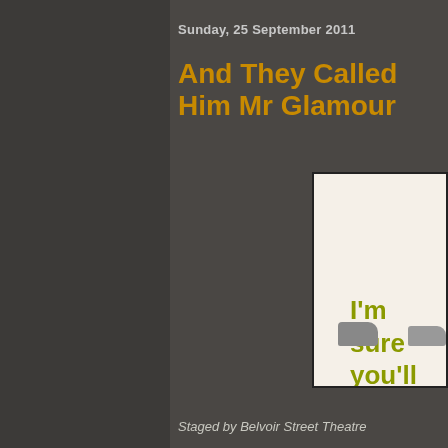Sunday, 25 September 2011
And They Called Him Mr Glamour
[Figure (photo): Promotional poster/artwork for a theatre production on a cream/off-white background with olive-green bold text reading: I'm sure you'll all agree that I'm a fascination. Two pairs of shoes are visible at the bottom of the image.]
Staged by Belvoir Street Theatre